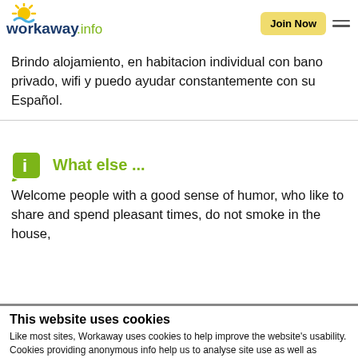workaway.info — Join Now
Brindo alojamiento, en habitacion individual con bano privado, wifi y puedo ayudar constantemente con su Español.
What else ...
Welcome people with a good sense of humor, who like to share and spend pleasant times, do not smoke in the house,
This website uses cookies
Like most sites, Workaway uses cookies to help improve the website's usability. Cookies providing anonymous info help us to analyse site use as well as improve content and present social media features.  You consent to our cookies if you continue to use our website.
OK   Settings